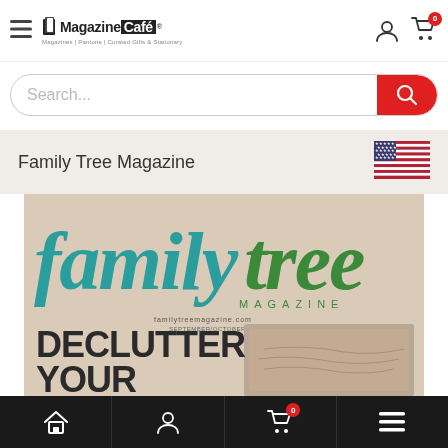Magazine Café — Magazines | Pantone | Curated Gifts & Stationary
Search...
Family Tree Magazine
[Figure (photo): Family Tree Magazine cover showing 'familytree MAGAZINE' masthead in teal and green, with text 'DECLUTTER YOUR' visible, a vintage photograph underneath, and familytreemagazine.com URL]
Home | Account | Cart (0) | Menu